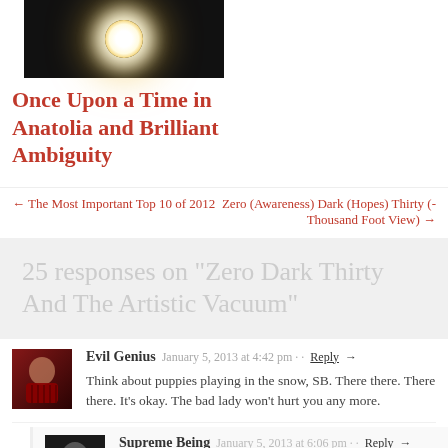[Figure (photo): Dark image with a bright light glare in the center, thumbnail for a blog post]
Once Upon a Time in Anatolia and Brilliant Ambiguity
← The Most Important Top 10 of 2012
Zero (Awareness) Dark (Hopes) Thirty (-Thousand Foot View) →
25 responses on “Zero Dark Thirty And The Artistic Vacuum”
Evil Genius   January 5, 2013 at 4:42 pm · · Reply →
Think about puppies playing in the snow, SB. There there. There there. It’s okay. The bad lady won’t hurt you any more.
Supreme Being   January 5, 2013 at 6:06 pm · · Reply →
thanks, Evil Genius – but Bin Laden ate my puppy!